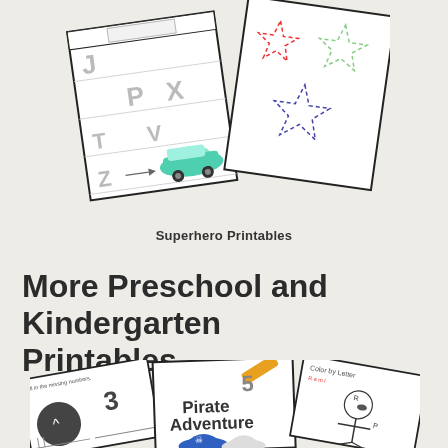[Figure (illustration): Two overlapping worksheet cards fanned out. Left card shows letter tracing with letters J, P, V, X, T, Z and a colorful toy car illustration. Right card shows star shape tracing outlines in red, green, and blue dotted lines.]
Superhero Printables
More Preschool and Kindergarten Printables
[Figure (illustration): Three worksheet cards fanned out at the bottom. Left card shows 'Fill in the missing numbers' with numbers 3 and a dark circle. Center card shows 'Pirate Adventure' with pirate characters in blue hat and polka-dot outfit. Right card shows 'Color by Letter' with a cartoon girl pirate illustration in black and white.]